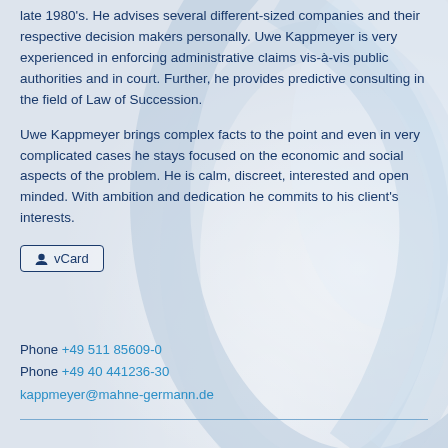late 1980's. He advises several different-sized companies and their respective decision makers personally. Uwe Kappmeyer is very experienced in enforcing administrative claims vis-à-vis public authorities and in court. Further, he provides predictive consulting in the field of Law of Succession.
Uwe Kappmeyer brings complex facts to the point and even in very complicated cases he stays focused on the economic and social aspects of the problem. He is calm, discreet, interested and open minded. With ambition and dedication he commits to his client's interests.
vCard
Phone +49 511 85609-0
Phone +49 40 441236-30
kappmeyer@mahne-germann.de